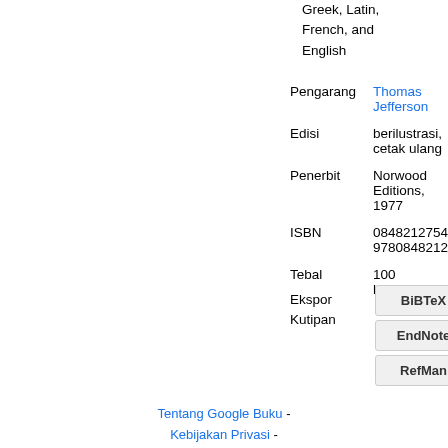Greek, Latin, French, and English
| Pengarang | Thomas Jefferson |
| Edisi | berilustrasi, cetak ulang |
| Penerbit | Norwood Editions, 1977 |
| ISBN | 0848212754, 9780848212759 |
| Tebal | 100 halaman |
Ekspor Kutipan
BiBTeX
EndNote
RefMan
Tentang Google Buku - Kebijakan Privasi -